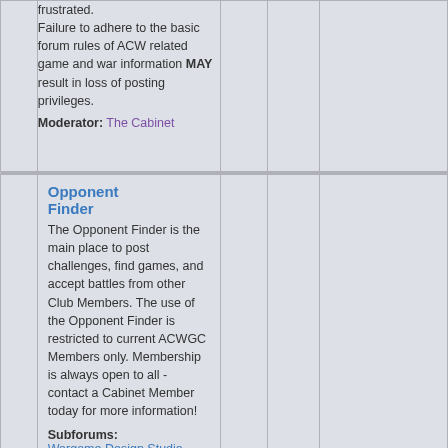|  | Forum | Posts | Topics | Last Post |
| --- | --- | --- | --- | --- |
|  | frustrated.
Failure to adhere to the basic forum rules of ACW related game and war information MAY result in loss of posting privileges.
Moderator: The Cabinet |  |  |  |
|  | Opponent Finder
The Opponent Finder is the main place to post challenges, find games, and accept battles from other Club Members. The use of the Opponent Finder is restricted to current ACWGC Members only. Membership is always open to all - contact a Cabinet Member today for more information!
Subforums: Wargame Design Studio (WDS) and John Tiller Software (JTS) Campaign Games | 3401 | 10966 | Fri Sep 02, 2022 1:57 am
astaccioli |